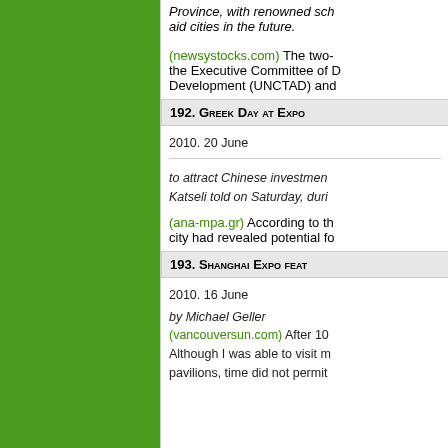Province, with renowned sch... aid cities in the future.
(newsystocks.com) The two- the Executive Committee of D... Development (UNCTAD) and...
192. Greek Day at Expo
2010. 20 June
to attract Chinese investmen... Katseli told on Saturday, duri...
(ana-mpa.gr) According to th... city had revealed potential fo...
193. Shanghai Expo feat...
2010. 16 June
by Michael Geller
(vancouversun.com) After 10... Although I was able to visit m... pavilions, time did not permit...